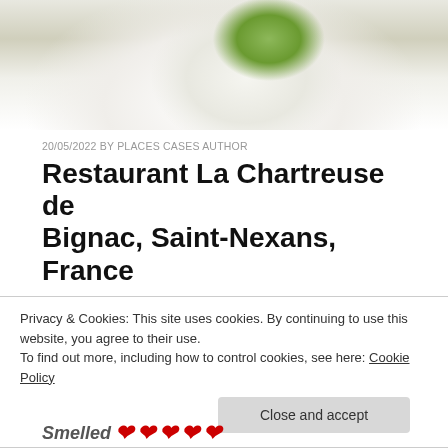[Figure (photo): Top portion of a food photo showing a green sponge cake or mousse dessert on a white plate with whipped cream]
20/05/2022 BY PLACES CASES AUTHOR
Restaurant La Chartreuse de Bignac, Saint-Nexans, France
Restaurant La Chartreuse de Bignac rating by the 5D Sensograph of placescases.com: 5 out of 5.
April  2022
Privacy & Cookies: This site uses cookies. By continuing to use this website, you agree to their use.
To find out more, including how to control cookies, see here: Cookie Policy
Close and accept
Smelled ❤❤❤❤❤